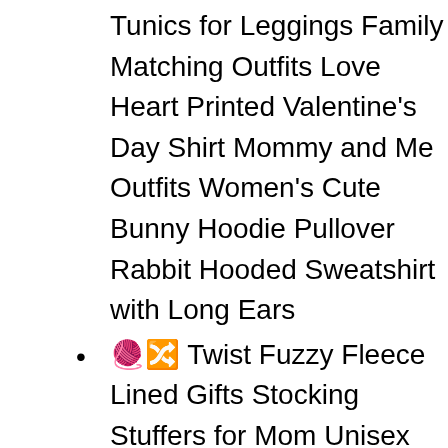Tunics for Leggings Family Matching Outfits Love Heart Printed Valentine's Day Shirt Mommy and Me Outfits Women's Cute Bunny Hoodie Pullover Rabbit Hooded Sweatshirt with Long Ears
🧶🔀 Twist Fuzzy Fleece Lined Gifts Stocking Stuffers for Mom Unisex Print Double-Side-Wear Reversible Bucket Hat Women Winter Pompom Beanie Hat with Warm Fleece Lined, Thick Slouchy Snow Knit Skull Ski Cap Hat To Socks Wool Blend French Beret for Men and